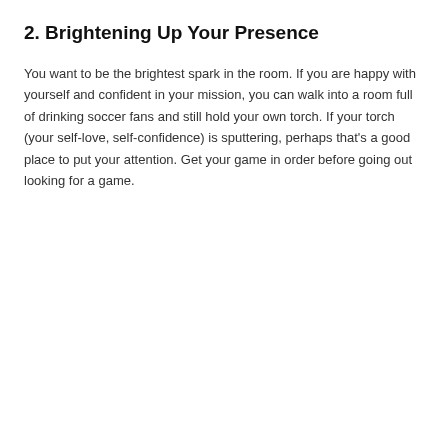2. Brightening Up Your Presence
You want to be the brightest spark in the room. If you are happy with yourself and confident in your mission, you can walk into a room full of drinking soccer fans and still hold your own torch. If your torch (your self-love, self-confidence) is sputtering, perhaps that's a good place to put your attention. Get your game in order before going out looking for a game.